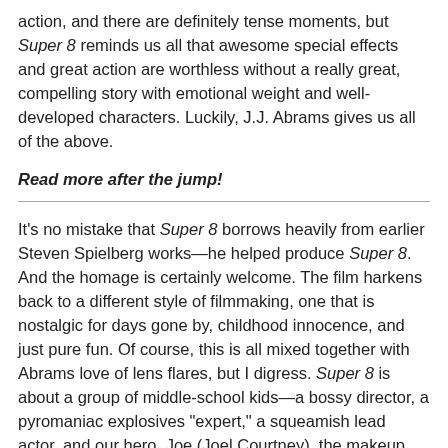action, and there are definitely tense moments, but Super 8 reminds us all that awesome special effects and great action are worthless without a really great, compelling story with emotional weight and well-developed characters. Luckily, J.J. Abrams gives us all of the above.
Read more after the jump!
It's no mistake that Super 8 borrows heavily from earlier Steven Spielberg works—he helped produce Super 8. And the homage is certainly welcome. The film harkens back to a different style of filmmaking, one that is nostalgic for days gone by, childhood innocence, and just pure fun. Of course, this is all mixed together with Abrams love of lens flares, but I digress. Super 8 is about a group of middle-school kids—a bossy director, a pyromaniac explosives "expert," a squeamish lead actor, and our hero, Joe (Joel Courtney), the makeup artist—who set out to make a zombie movie over the summer while sneaking around at midnight to get the perfect shots. One night Alice (Elle Fanning) joins the ragtag team for a nighttime shoot at a train station, where Joe witnesses a truck careening down the tracks,